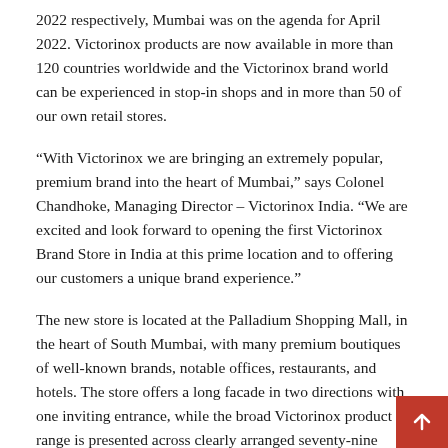2022 respectively, Mumbai was on the agenda for April 2022. Victorinox products are now available in more than 120 countries worldwide and the Victorinox brand world can be experienced in stop-in shops and in more than 50 of our own retail stores.
“With Victorinox we are bringing an extremely popular, premium brand into the heart of Mumbai,” says Colonel Chandhoke, Managing Director – Victorinox India. “We are excited and look forward to opening the first Victorinox Brand Store in India at this prime location and to offering our customers a unique brand experience.”
The new store is located at the Palladium Shopping Mall, in the heart of South Mumbai, with many premium boutiques of well-known brands, notable offices, restaurants, and hotels. The store offers a long facade in two directions with one inviting entrance, while the broad Victorinox product range is presented across clearly arranged seventy-nine square meters.